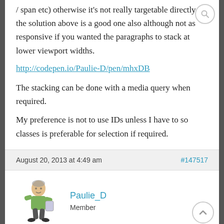/ span etc) otherwise it's not really targetable directly so the solution above is a good one also although not as responsive if you wanted the paragraphs to stack at lower viewport widths.
http://codepen.io/Paulie-D/pen/mhxDB
The stacking can be done with a media query when required.
My preference is not to use IDs unless I have to so classes is preferable for selection if required.
August 20, 2013 at 4:49 am   #147517
Paulie_D
Member